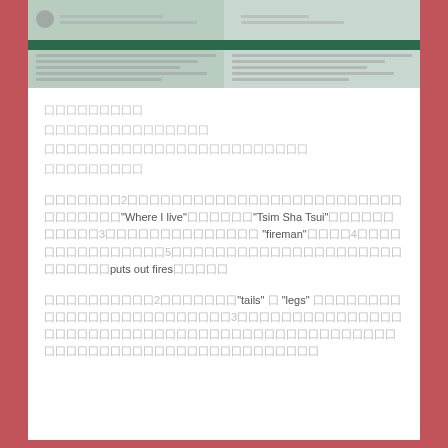[Figure (photo): Photo of what appears to be a book or worksheet spread open on a table, showing two pages side by side with green binding/cover visible at top]
囗囗囗囗囗囗囗囗囗
囗囗囗囗囗囗囗囗囗囗囗囗囗囗囗
囗囗囗囗囗囗囗囗囗囗囗囗囗囗囗囗囗囗囗囗囗囗囗囗
囗囗囗囗囗囗囗囗囗
囗囗囗囗囗囗囗2囗囗囗囗囗囗囗囗囗囗囗囗囗囗囗囗囗囗囗囗囗囗囗囗囗囗囗囗囗囗囗囗"Where I live"囗囗囗囗囗囗"Tsim Sha Tsui"囗囗囗囗囗囗囗囗囗囗囗3囗囗囗囗囗囗囗囗囗囗囗囗囗囗 "fireman"囗囗囗囗4囗囗囗囗囗囗囗囗囗囗囗囗囗囗囗5囗囗囗囗囗囗囗囗囗囗囗囗囗囗囗囗囗囗囗囗囗囗囗囗囗囗囗puts out fires囗囗囗囗囗
囗囗囗囗囗囗囗囗囗囗2囗囗囗囗囗囗囗"tails" 囗 "legs" 囗囗囗囗囗囗囗囗囗囗囗囗囗囗囗囗囗囗囗囗囗囗囗囗囗3囗囗囗囗囗囗囗囗囗囗囗囗囗囗囗囗囗囗囗囗囗囗囗囗囗囗囗囗囗囗囗囗囗囗囗囗囗囗囗囗囗囗囗囗囗囗囗囗